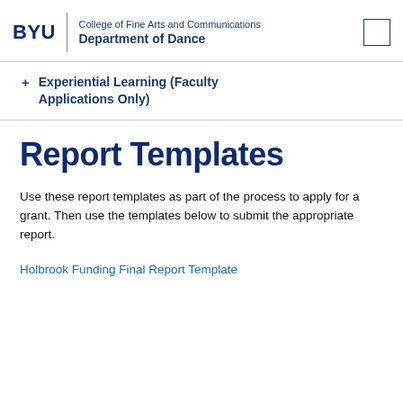BYU | College of Fine Arts and Communications | Department of Dance
+ Experiential Learning (Faculty Applications Only)
Report Templates
Use these report templates as part of the process to apply for a grant. Then use the templates below to submit the appropriate report.
Holbrook Funding Final Report Template